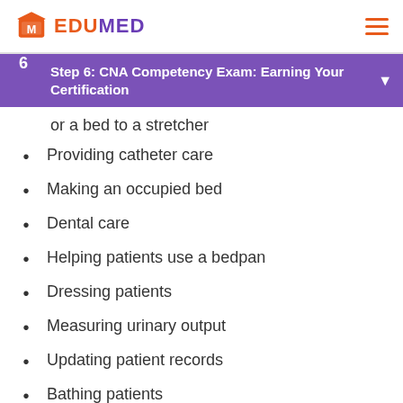EDUMED
Step 6: CNA Competency Exam: Earning Your Certification
or a bed to a stretcher
Providing catheter care
Making an occupied bed
Dental care
Helping patients use a bedpan
Dressing patients
Measuring urinary output
Updating patient records
Bathing patients